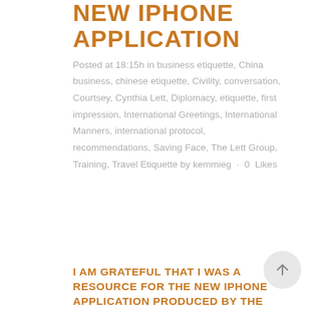NEW IPHONE APPLICATION
Posted at 18:15h in business etiquette, China business, chinese etiquette, Civility, conversation, Courtsey, Cynthia Lett, Diplomacy, etiquette, first impression, International Greetings, International Manners, international protocol, recommendations, Saving Face, The Lett Group, Training, Travel Etiquette by kemmieg · 0 Likes
I AM GRATEFUL THAT I WAS A RESOURCE FOR THE NEW IPHONE APPLICATION PRODUCED BY THE